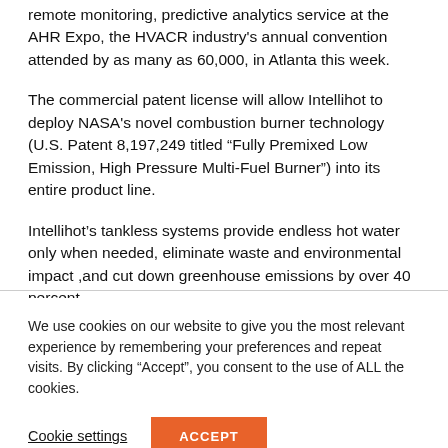remote monitoring, predictive analytics service at the AHR Expo, the HVACR industry's annual convention attended by as many as 60,000, in Atlanta this week.
The commercial patent license will allow Intellihot to deploy NASA's novel combustion burner technology (U.S. Patent 8,197,249 titled “Fully Premixed Low Emission, High Pressure Multi-Fuel Burner”) into its entire product line.
Intellihot’s tankless systems provide endless hot water only when needed, eliminate waste and environmental impact ,and cut down greenhouse emissions by over 40 percent.
We use cookies on our website to give you the most relevant experience by remembering your preferences and repeat visits. By clicking “Accept”, you consent to the use of ALL the cookies.
Cookie settings
ACCEPT